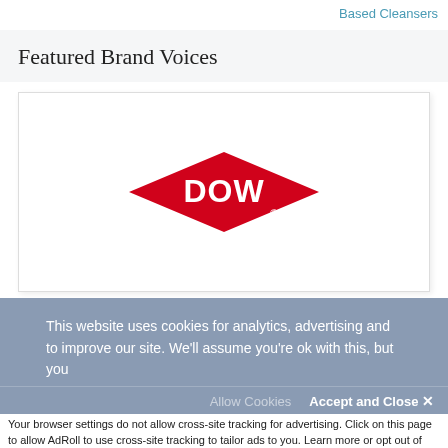Based Cleansers
Featured Brand Voices
[Figure (logo): Dow logo — red diamond shape with white text 'DOW' and registered trademark symbol]
This website uses cookies for analytics, advertising and to improve our site. We'll assume you're ok with this, but you
Allow Cookies   Accept and Close ✕
Your browser settings do not allow cross-site tracking for advertising. Click on this page to allow AdRoll to use cross-site tracking to tailor ads to you. Learn more or opt out of this AdRoll tracking by clicking here. This message only appears once.